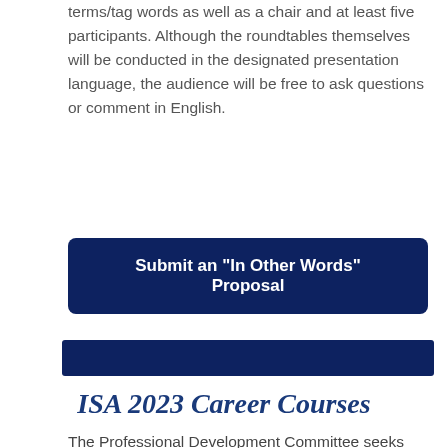terms/tag words as well as a chair and at least five participants. Although the roundtables themselves will be conducted in the designated presentation language, the audience will be free to ask questions or comment in English.
Submit an "In Other Words" Proposal
ISA 2023 Career Courses
The Professional Development Committee seeks Career Course proposals for the 2023 Annual Convention. Career Courses offer conference attendees professional development opportunities to learn about a variety of